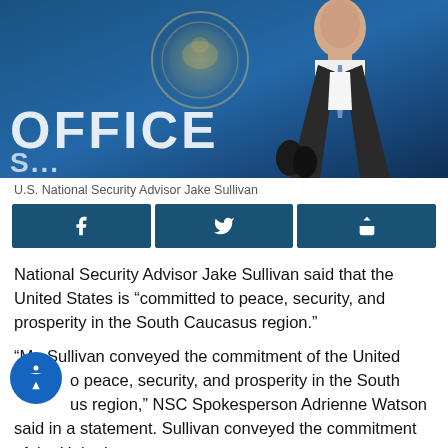[Figure (photo): U.S. National Security Advisor Jake Sullivan speaking at a podium with microphones, wearing a dark suit and blue tie, in front of a blue backdrop with the word OFFICE and a U.S. government seal visible]
U.S. National Security Advisor Jake Sullivan
[Figure (infographic): Social sharing bar with Facebook, Twitter, and share buttons in dark teal/navy color]
National Security Advisor Jake Sullivan said that the United States is “committed to peace, security, and prosperity in the South Caucasus region.”
“Mr. Sullivan conveyed the commitment of the United States to peace, security, and prosperity in the South Caucasus region,” NSC Spokesperson Adrienne Watson said in a statement. Sullivan conveyed the commitment of the United